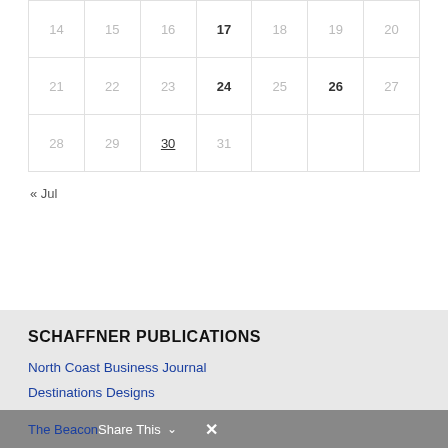| 14 | 15 | 16 | 17 | 18 | 19 | 20 |
| 21 | 22 | 23 | 24 | 25 | 26 | 27 |
| 28 | 29 | 30 | 31 |  |  |  |
« Jul
SCHAFFNER PUBLICATIONS
North Coast Business Journal
Destinations Designs
The Beacon
Share This  ✕